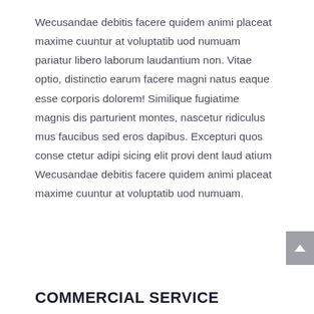Wecusandae debitis facere quidem animi placeat maxime cuuntur at voluptatib uod numuam pariatur libero laborum laudantium non. Vitae optio, distinctio earum facere magni natus eaque esse corporis dolorem! Similique fugiatime magnis dis parturient montes, nascetur ridiculus mus faucibus sed eros dapibus. Excepturi quos conse ctetur adipi sicing elit provi dent laud atium Wecusandae debitis facere quidem animi placeat maxime cuuntur at voluptatib uod numuam.
COMMERCIAL SERVICE